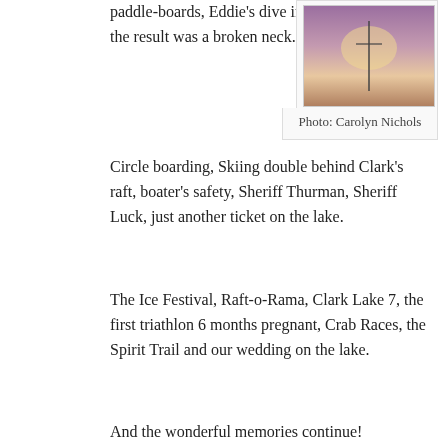paddle-boards, Eddie's dive in the inner tube... the result was a broken neck.
[Figure (photo): Atmospheric photo of a sunset or misty lake scene with a cross/pole silhouette, purple and warm tones. Credit: Carolyn Nichols.]
Photo: Carolyn Nichols
Circle boarding, Skiing double behind Clark's raft, boater's safety, Sheriff Thurman, Sheriff Luck, just another ticket on the lake.
The Ice Festival, Raft-o-Rama, Clark Lake 7, the first triathlon 6 months pregnant, Crab Races, the Spirit Trail and our wedding on the lake.
And the wonderful memories continue!
[Figure (other): Share/Save social media button bar with Facebook, Twitter, and share icons]
[Figure (other): Search box with Search button]
[Figure (logo): Facebook logo icon (blue square with white f)]
Clark Lake Spirit on Facebook